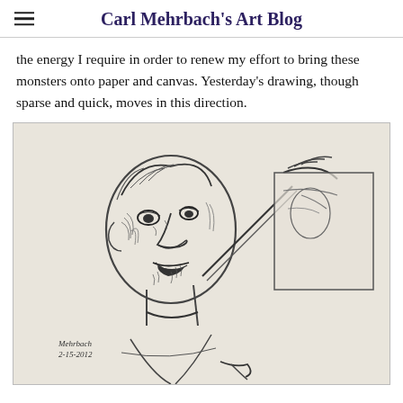Carl Mehrbach's Art Blog
the energy I require in order to renew my effort to bring these monsters onto paper and canvas. Yesterday's drawing, though sparse and quick, moves in this direction.
[Figure (illustration): A charcoal or pencil sketch of a person's face and upper body, looking upward and to the right, holding up what appears to be a piece of paper or canvas in their raised right hand. The figure wears a shirt and has a necklace. The drawing is signed 'Mehrbach 2-15-2012' in the lower left corner.]